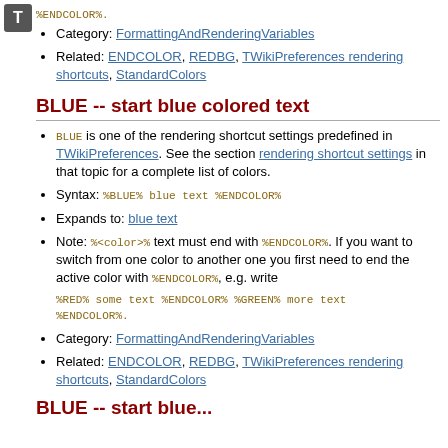[Figure (other): T icon badge top left]
%ENDCOLOR%.
Category: FormattingAndRenderingVariables
Related: ENDCOLOR, REDBG, TWikiPreferences rendering shortcuts, StandardColors
BLUE -- start blue colored text
BLUE is one of the rendering shortcut settings predefined in TWikiPreferences. See the section rendering shortcut settings in that topic for a complete list of colors.
Syntax: %BLUE% blue text %ENDCOLOR%
Expands to: blue text
Note: %<color>% text must end with %ENDCOLOR%. If you want to switch from one color to another one you first need to end the active color with %ENDCOLOR%, e.g. write %RED% some text %ENDCOLOR% %GREEN% more text %ENDCOLOR%.
Category: FormattingAndRenderingVariables
Related: ENDCOLOR, REDBG, TWikiPreferences rendering shortcuts, StandardColors
BLUE -- start blue colored text